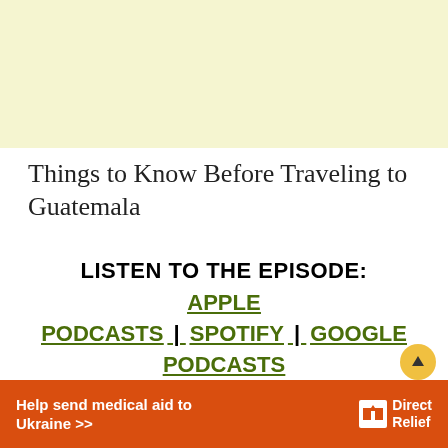[Figure (other): Light yellow advertisement banner at the top of the page]
Things to Know Before Traveling to Guatemala
LISTEN TO THE EPISODE:
APPLE PODCASTS | SPOTIFY | GOOGLE PODCASTS
[Figure (other): Orange Direct Relief advertisement banner: Help send medical aid to Ukraine >>]